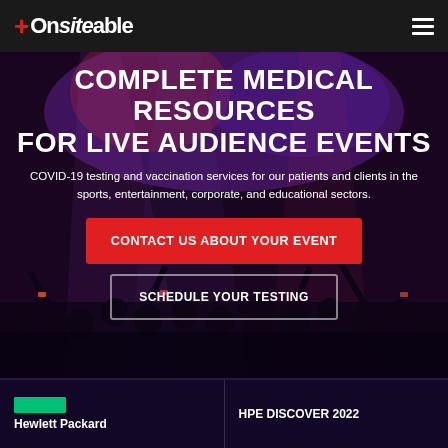Onsiteable
COMPLETE MEDICAL RESOURCES FOR LIVE AUDIENCE EVENTS
COVID-19 testing and vaccination services for our patients and clients in the sports, entertainment, corporate, and educational sectors.
CONTACT US ABOUT YOUR EVENT
SCHEDULE YOUR TESTING
Hewlett Packard
HPE DISCOVER 2022